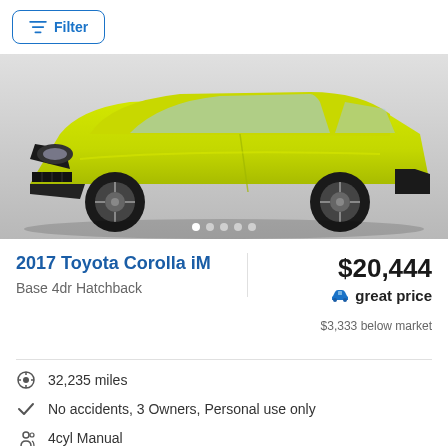Filter
[Figure (photo): Yellow/green 2017 Toyota Corolla iM hatchback car photo with image carousel dots below]
2017 Toyota Corolla iM
Base 4dr Hatchback
$20,444
great price
$3,333 below market
32,235 miles
No accidents, 3 Owners, Personal use only
4cyl Manual
Driveway (In-stock online)
Home delivery*
Back-up camera  Bluetooth  Tire Pressure Warnin